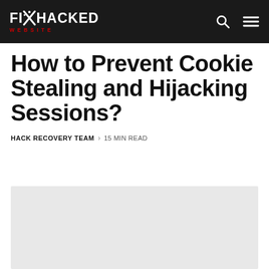FIX HACKED WEBSITE
How to Prevent Cookie Stealing and Hijacking Sessions?
HACK RECOVERY TEAM · 15 MIN READ
[Figure (photo): Featured article image placeholder, light gray background]